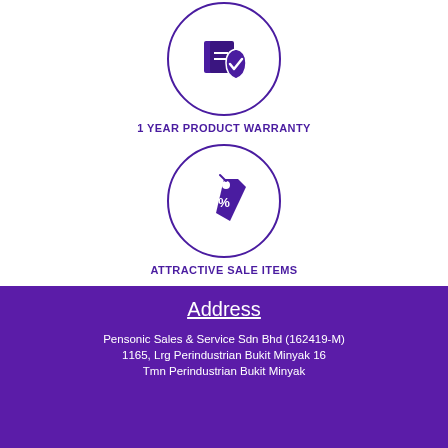[Figure (illustration): Purple circle with warranty/book and shield checkmark icon]
1 YEAR PRODUCT WARRANTY
[Figure (illustration): Purple circle with price tag / percentage discount icon]
ATTRACTIVE SALE ITEMS
Address
Pensonic Sales & Service Sdn Bhd (162419-M)
1165, Lrg Perindustrian Bukit Minyak 16
Tmn Perindustrian Bukit Minyak